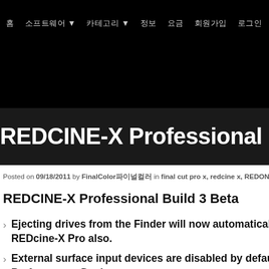홈  소프트웨어▼  카테고리▼  정보  요금  회원가입  로그인
REDCINE-X Professional Build 3
Posted on 09/18/2011 by FinalColor파이널컬러 in final cut pro x, redcine x, REDONE, 레드원, 파이널
REDCINE-X Professional Build 3 Beta
Ejecting drives from the Finder will now automatically eject REDcine-X Pro also.
External surface input devices are disabled by default. Preferences->Devices.
Added option to choose the clip resolution as an ou